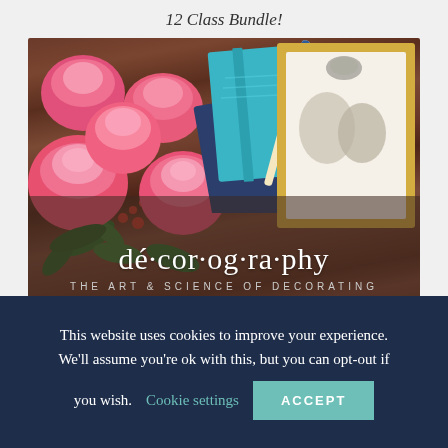12 Class Bundle!
[Figure (photo): Decorography branded photo showing pink roses on left, stacked teal/blue notebooks and a floral pen in center, a gold-framed display box on right, all on a dark walnut wood surface. The Decorography logo overlay reads 'dé·cor·og·ra·phy THE ART & SCIENCE OF DECORATING']
This website uses cookies to improve your experience. We'll assume you're ok with this, but you can opt-out if you wish. Cookie settings ACCEPT